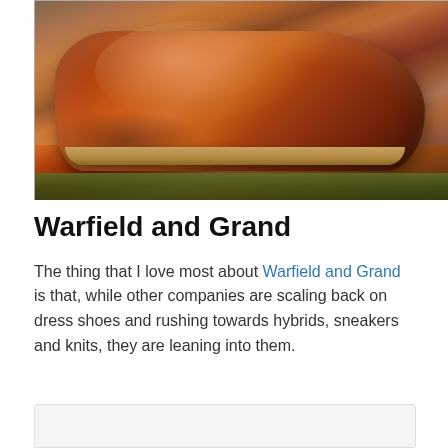[Figure (photo): A pair of tan/cognac brogue dress shoes (wingtip oxfords) in a shoe box, photographed from above on a grassy outdoor background.]
Warfield and Grand
The thing that I love most about Warfield and Grand is that, while other companies are scaling back on dress shoes and rushing towards hybrids, sneakers and knits, they are leaning into them.